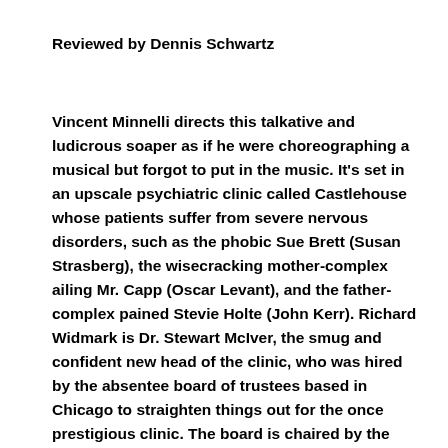Reviewed by Dennis Schwartz
Vincent Minnelli directs this talkative and ludicrous soaper as if he were choreographing a musical but forgot to put in the music. It's set in an upscale psychiatric clinic called Castlehouse whose patients suffer from severe nervous disorders, such as the phobic Sue Brett (Susan Strasberg), the wisecracking mother-complex ailing Mr. Capp (Oscar Levant), and the father-complex pained Stevie Holte (John Kerr). Richard Widmark is Dr. Stewart McIver, the smug and confident new head of the clinic, who was hired by the absentee board of trustees based in Chicago to straighten things out for the once prestigious clinic. The board is chaired by the prim matron Regina Mitchell-Smyth. Dr. Douglas N. Devanal (Charles Boyer) was the former head shrink for the past quarter of a century, but his once prominent career has gone downhill because he's become a